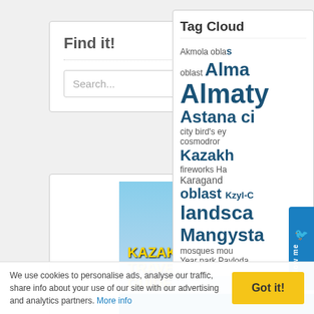Find it!
Search...
[Figure (screenshot): Kazakhstan Travel Guide advertisement banner with eagle emblem, traditional man with bird, text 'KAZAKHSTAN TRAVEL GUIDE' and 'AboutKazakhstan.com']
[Figure (photo): Colorful decorative banner with floral motifs and Russian-style church domes]
Tag Cloud
Akmola oblast Alma Almaty Astana ci city bird's ey cosmodrom Kazakh fireworks Ha Karagand oblast Kzyl-O landsca Mangysta mosques mou Year park Pavloda
We use cookies to personalise ads, analyse our traffic, share info about your use of our site with our advertising and analytics partners. More info
Got it!